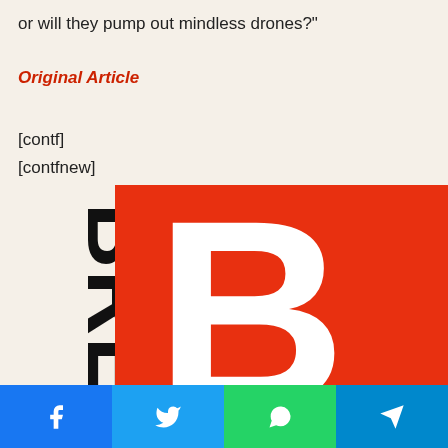or will they pump out mindless drones?"
Original Article
[contf]
[contfnew]
[Figure (logo): Breitbart logo — large red square with white bold letter B, with 'BREITBART' text rotated vertically on the left side in black on white background]
[Figure (infographic): Share bar at bottom with four buttons: Facebook (blue), Twitter (light blue), WhatsApp (green), Telegram (cyan blue)]